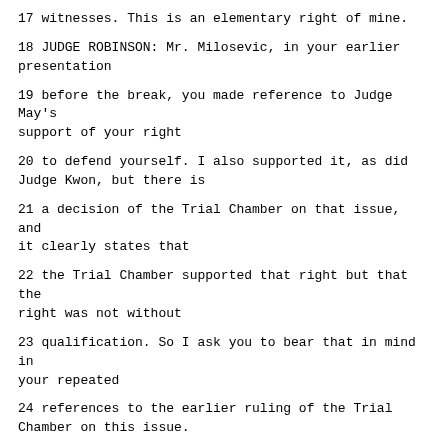17 witnesses. This is an elementary right of mine.
18 JUDGE ROBINSON: Mr. Milosevic, in your earlier presentation
19 before the break, you made reference to Judge May's support of your right
20 to defend yourself. I also supported it, as did Judge Kwon, but there is
21 a decision of the Trial Chamber on that issue, and it clearly states that
22 the Trial Chamber supported that right but that the right was not without
23 qualification. So I ask you to bear that in mind in your repeated
24 references to the earlier ruling of the Trial Chamber on this issue.
25 If you are finished, then Mr. Kay.
Page 32337
1 MR. KAY: Thank you, Your Honours. In our submission, this issue
2 entirely arises as a result of the condition of the